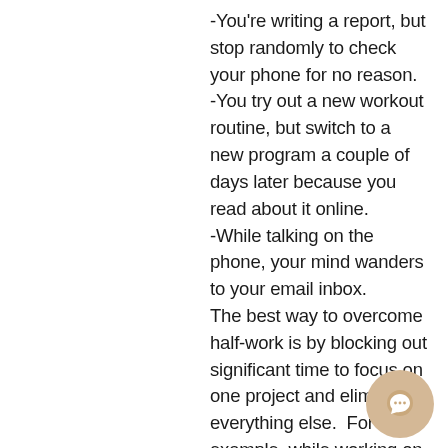-You're writing a report, but stop randomly to check your phone for no reason.
-You try out a new workout routine, but switch to a new program a couple of days later because you read about it online.
-While talking on the phone, your mind wanders to your email inbox.
The best way to overcome half-work is by blocking out significant time to focus on one project and eliminate everything else.  For example, while working on a project, leave your phone in another room.  I understand interruptions will happen, but they do not happen often as we think.  Eliminate distractions and give your tasks the
[Figure (other): A circular chat bubble icon in tan/beige color positioned in the bottom-right corner of the page]